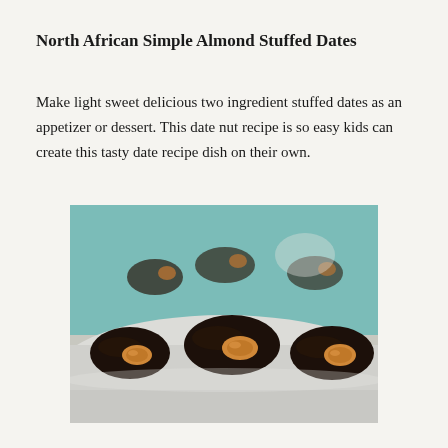North African Simple Almond Stuffed Dates
Make light sweet delicious two ingredient stuffed dates as an appetizer or dessert. This date nut recipe is so easy kids can create this tasty date recipe dish on their own.
[Figure (photo): Close-up photo of almond stuffed dates arranged on a light blue plate with a lace doily underneath. Several dark sticky dates with whole almonds pressed into their centers are visible, with more dates blurred in the background.]